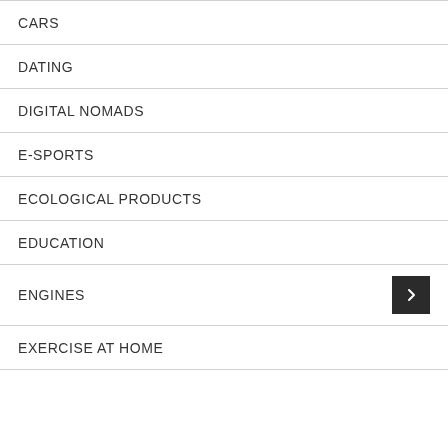CARS
DATING
DIGITAL NOMADS
E-SPORTS
ECOLOGICAL PRODUCTS
EDUCATION
ENGINES
EXERCISE AT HOME